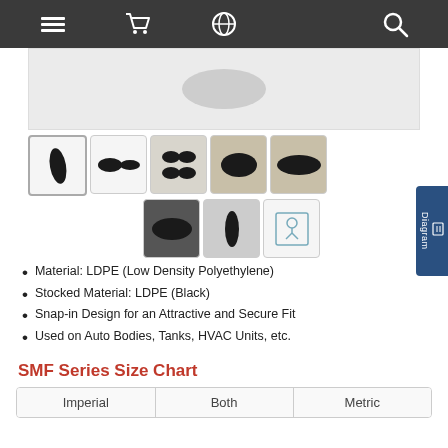Navigation bar with menu, cart, globe, and search icons
[Figure (photo): Product main image area showing LDPE oval snap-in plugs on light gray background]
[Figure (photo): Thumbnail gallery of SMF Series oval snap-in plugs: single plug, two plugs, four plugs on bracket, large oval plug, pointed oval plug, large dark oval, small dark oval, diagram icon]
Material: LDPE (Low Density Polyethylene)
Stocked Material: LDPE (Black)
Snap-in Design for an Attractive and Secure Fit
Used on Auto Bodies, Tanks, HVAC Units, etc.
SMF Series Size Chart
| Imperial | Both | Metric |
| --- | --- | --- |